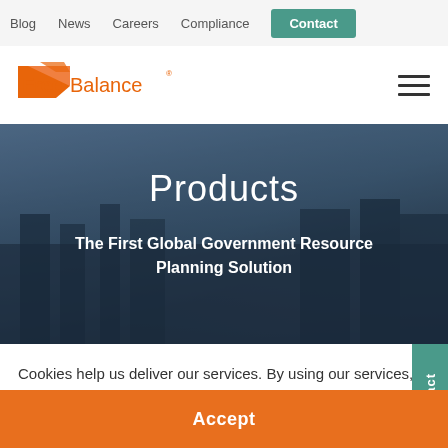Blog  News  Careers  Compliance  Contact
[Figure (logo): FreeBalance logo with orange triangle/chevron shape and orange text reading FreeBalance with registered trademark symbol]
Products
The First Global Government Resource Planning Solution
Cookies help us deliver our services. By using our services, you agree to our use of cookies. Learn More
Accept